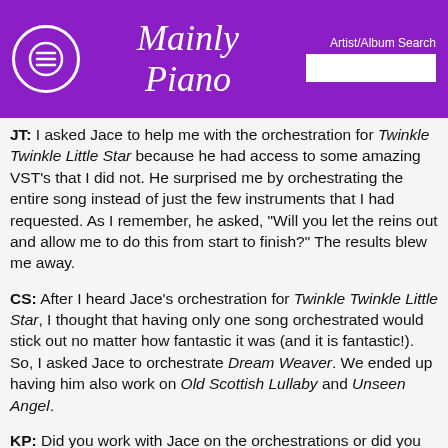Mainly Piano | Artist/Album Search
JT: I asked Jace to help me with the orchestration for Twinkle Twinkle Little Star because he had access to some amazing VST's that I did not. He surprised me by orchestrating the entire song instead of just the few instruments that I had requested. As I remember, he asked, "Will you let the reins out and allow me to do this from start to finish?" The results blew me away.
CS: After I heard Jace's orchestration for Twinkle Twinkle Little Star, I thought that having only one song orchestrated would stick out no matter how fantastic it was (and it is fantastic!). So, I asked Jace to orchestrate Dream Weaver. We ended up having him also work on Old Scottish Lullaby and Unseen Angel.
KP: Did you work with Jace on the orchestrations or did you turn him loose with your music?